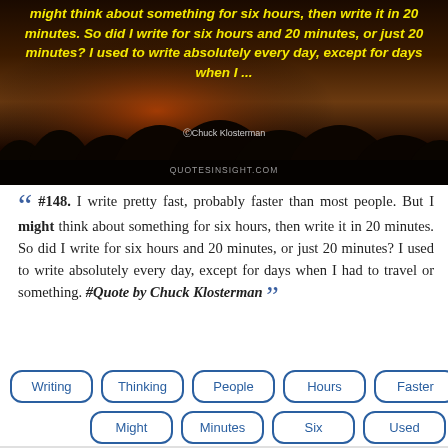[Figure (photo): Dark dramatic sky with silhouetted trees at bottom, reddish-brown and dark tones. Overlaid italic yellow bold text: 'might think about something for six hours, then write it in 20 minutes. So did I write for six hours and 20 minutes, or just 20 minutes? I used to write absolutely every day, except for days when I...' Attribution: ©Chuck Klosterman. Watermark: QUOTESINSIGHT.COM]
“ #148. I write pretty fast, probably faster than most people. But I might think about something for six hours, then write it in 20 minutes. So did I write for six hours and 20 minutes, or just 20 minutes? I used to write absolutely every day, except for days when I had to travel or something. #Quote by Chuck Klosterman ”
Writing
Thinking
People
Hours
Faster
Might
Minutes
Six
Used